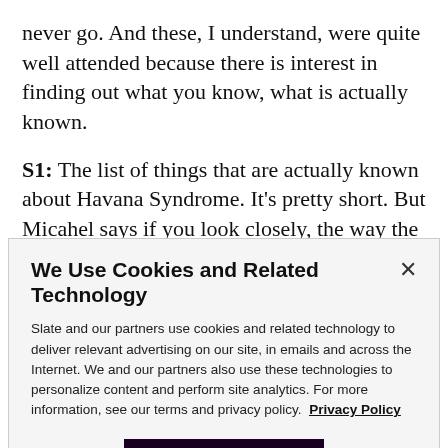never go. And these, I understand, were quite well attended because there is interest in finding out what you know, what is actually known.
S1: The list of things that are actually known about Havana Syndrome. It's pretty short. But Micahel says if you look closely, the way the Biden administration is, reorienting its priorities right now tells you all you need to know.
We Use Cookies and Related Technology
Slate and our partners use cookies and related technology to deliver relevant advertising on our site, in emails and across the Internet. We and our partners also use these technologies to personalize content and perform site analytics. For more information, see our terms and privacy policy. Privacy Policy
OK